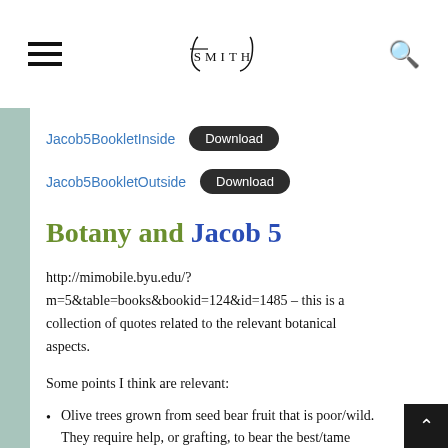≡  J SMITH  🔍
Jacob5BookletInside  [Download]
Jacob5BookletOutside  [Download]
Botany and Jacob 5
http://mimobile.byu.edu/?m=5&table=books&bookid=124&id=1485 – this is a collection of quotes related to the relevant botanical aspects.
Some points I think are relevant:
Olive trees grown from seed bear fruit that is poor/wild. They require help, or grafting, to bear the best/tame